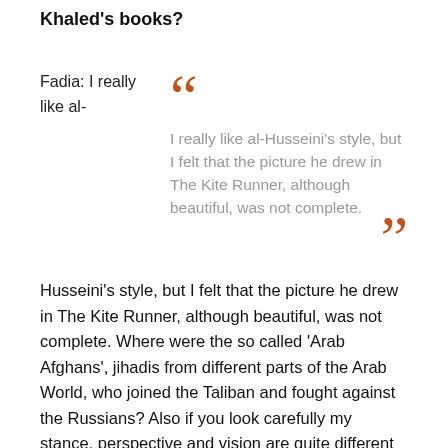Khaled's books?
Fadia: I really like al-Husseini's style, but I felt that the picture he drew in The Kite Runner, although beautiful, was not complete. Where were the so called 'Arab Afghans', jihadis from different parts of the Arab World, who joined the Taliban and fought against the Russians? Also if you look carefully my stance, perspective and vision are quite different from his. I don't see the American invasion of Afghanistan as a liberation. It is simply an occupation and didn't improve living